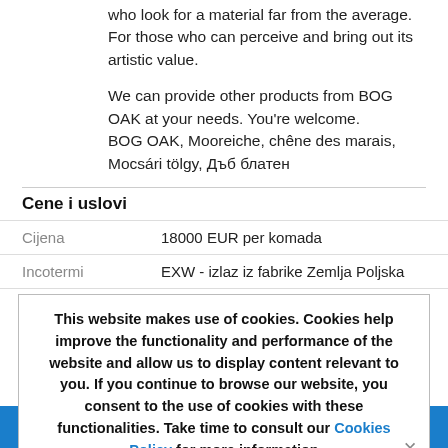who look for a material far from the average. For those who can perceive and bring out its artistic value.

We can provide other products from BOG OAK at your needs. You're welcome.
BOG OAK, Mooreiche, chêne des marais, Mocsári tölgy, Дъб блатен
Cene i uslovi
|  |  |
| --- | --- |
| Cijena | 18000 EUR per komada |
| Incotermi | EXW - izlaz iz fabrike Zemlja Poljska |
| Rok | Dostupno po narudžbi za više od 30 dana |
This website makes use of cookies. Cookies help improve the functionality and performance of the website and allow us to display content relevant to you. If you continue to browse our website, you consent to the use of cookies with these functionalities. Take time to consult our Cookies Policy  for more information
Razgledžin...